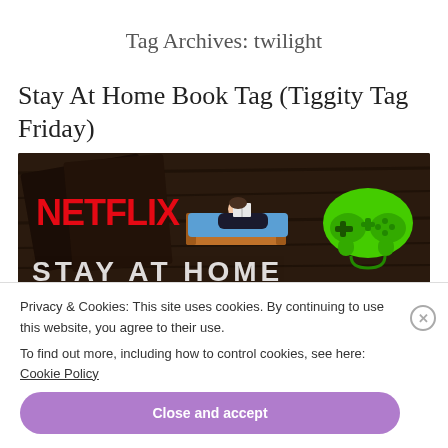Tag Archives: twilight
Stay At Home Book Tag (Tiggity Tag Friday)
[Figure (illustration): Stay At Home themed illustration showing Netflix logo in red on dark wood background, a person lying on a bed reading a book in the center, and a green game controller on the right, with 'STAY AT HOME' text at the bottom in white block letters.]
Privacy & Cookies: This site uses cookies. By continuing to use this website, you agree to their use.
To find out more, including how to control cookies, see here: Cookie Policy
Close and accept